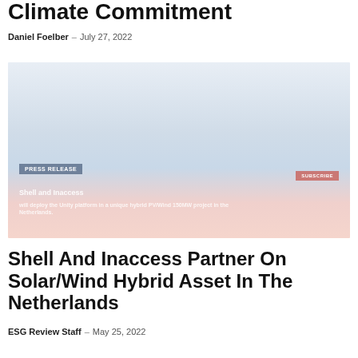Climate Commitment
Daniel Foelber – July 27, 2022
[Figure (photo): A press release image from Shell and Inaccess showing an industrial/energy facility with a red badge overlay and text overlay reading 'Shell and Inaccess' with subtitle about a solar/wind hybrid platform in the Netherlands.]
Shell And Inaccess Partner On Solar/Wind Hybrid Asset In The Netherlands
ESG Review Staff – May 25, 2022